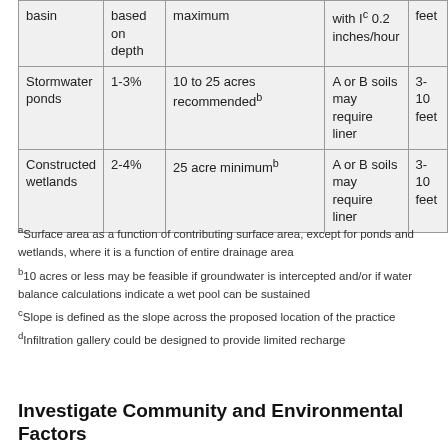| basin | based on depth | maximum | with I^c 0.2 inches/hour | feet |
| --- | --- | --- | --- | --- |
| Stormwater ponds | 1-3% | 10 to 25 acres recommended^b | A or B soils may require liner | 3-10 feet |
| Constructed wetlands | 2-4% | 25 acre minimum^b | A or B soils may require liner | 3-10 feet |
aSurface area as a function of contributing surface area, except for ponds and wetlands, where it is a function of entire drainage area
b10 acres or less may be feasible if groundwater is intercepted and/or if water balance calculations indicate a wet pool can be sustained
cSlope is defined as the slope across the proposed location of the practice
dInfiltration gallery could be designed to provide limited recharge
Investigate Community and Environmental Factors